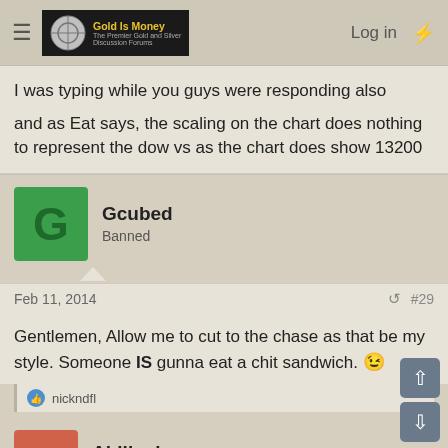Gold Is Money — The Premier Gold and Silver Discussion Forums | Log in
I was typing while you guys were responding also

and as Eat says, the scaling on the chart does nothing to represent the dow vs as the chart does show 13200
Gcubed
Banned
Feb 11, 2014  #29
Gentlemen, Allow me to cut to the chase as that be my style. Someone IS gunna eat a chit sandwich. 😉
nickndfl
Ahillock
A nobody  Mother Lode